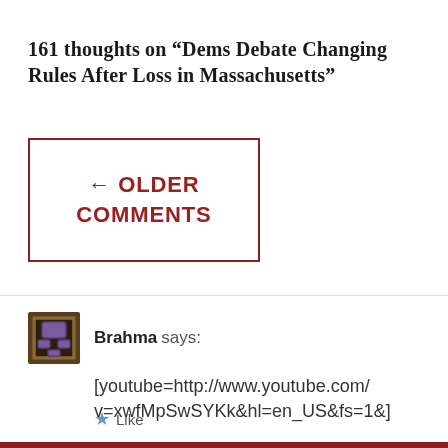161 thoughts on “Dems Debate Changing Rules After Loss in Massachusetts”
← OLDER COMMENTS
Brahma says:
[youtube=http://www.youtube.com/v=xwfMpSwSYKk&hl=en_US&fs=1&]
Like